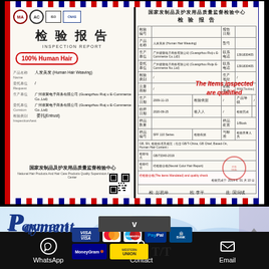[Figure (other): Chinese inspection report certificate with red/blue airmail border, logos (MA, AC, ISO, CNAS), title 检验报告 INSPECTION REPORT, highlighted '100% Human Hair', product fields in Chinese and English, and right panel showing detailed inspection table with red stamp and 'The Items inspected are qualified' overlay text]
Payment
[Figure (infographic): Payment methods section showing VISA, MasterCard, Maestro, PayPal, Bank Transfer, MoneyGram, Western Union, T/T logos on a world map background, with an up-arrow house icon on the right]
WhatsApp   Contact   Email